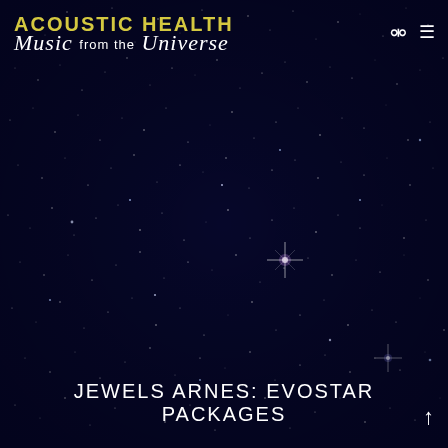[Figure (photo): Deep space star field background — dark navy/indigo sky filled with hundreds of small white and blue-white stars, with a few brighter star bursts with cross-shaped diffraction spikes, particularly prominent near the upper center and lower portions of the image.]
Acoustic Health Music from the Universe
JEWELS ARNES: EVOSTAR PACKAGES